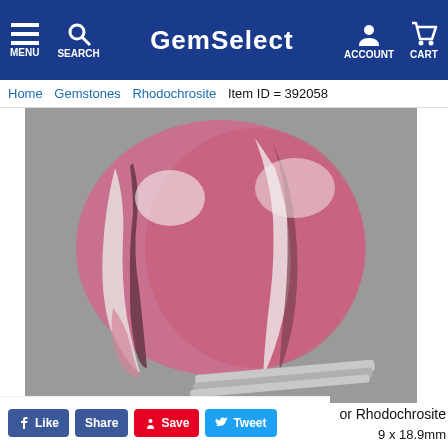GemSelect — MENU SEARCH ACCOUNT CART
Home  Gemstones  Rhodochrosite  Item ID = 392058
[Figure (photo): A polished rhodochrosite cabochon gemstone held by tweezers, showing distinctive pink, white and dark banded patterns on a grey background.]
1 pc
or Rhodochrosite
9 x 18.9mm